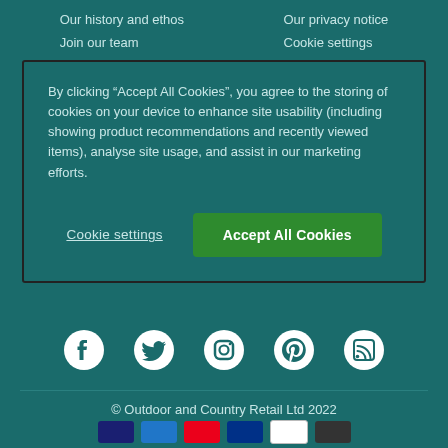Our history and ethos
Our privacy notice
Join our team
Cookie settings
By clicking “Accept All Cookies”, you agree to the storing of cookies on your device to enhance site usability (including showing product recommendations and recently viewed items), analyse site usage, and assist in our marketing efforts.
Cookie settings
Accept All Cookies
[Figure (infographic): Social media icons row: Facebook, Twitter, Instagram, Pinterest, RSS feed]
© Outdoor and Country Retail Ltd 2022